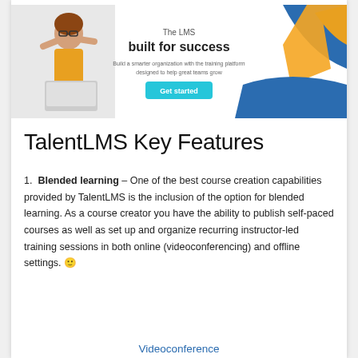[Figure (screenshot): TalentLMS banner showing a woman with arms raised, text 'The LMS built for success', subtitle 'Build a smarter organization with the training platform designed to help great teams grow', a blue 'Get started' button, and decorative blue/yellow shapes on the right.]
TalentLMS Key Features
1.  Blended learning – One of the best course creation capabilities provided by TalentLMS is the inclusion of the option for blended learning. As a course creator you have the ability to publish self-paced courses as well as set up and organize recurring instructor-led training sessions in both online (videoconferencing) and offline settings. 🙂
Videoconference